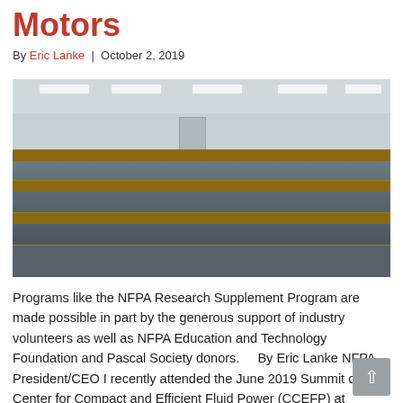Motors
By Eric Lanke | October 2, 2019
[Figure (photo): Conference room with approximately 30-40 attendees seated at tables facing a presenter, taken from the back of the room. Room has drop ceiling with fluorescent lights.]
Programs like the NFPA Research Supplement Program are made possible in part by the generous support of industry volunteers as well as NFPA Education and Technology Foundation and Pascal Society donors.    By Eric Lanke NFPA President/CEO I recently attended the June 2019 Summit of the Center for Compact and Efficient Fluid Power (CCEFP) at